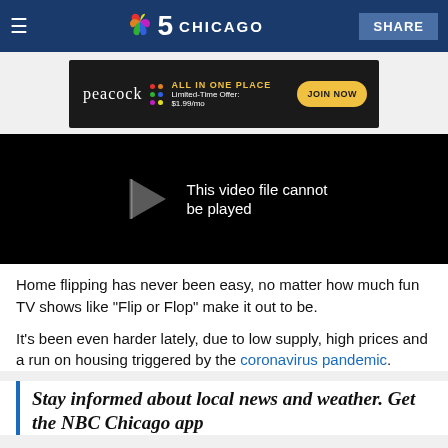NBC 5 Chicago
[Figure (screenshot): Peacock streaming service advertisement banner: ALL IN ONE PLACE, Limited-Time Offer: $1.99/mo, JOIN NOW button]
[Figure (screenshot): Black video player area with error message: This video file cannot be played]
Home flipping has never been easy, no matter how much fun TV shows like "Flip or Flop" make it out to be.
It's been even harder lately, due to low supply, high prices and a run on housing triggered by the coronavirus pandemic.
Stay informed about local news and weather. Get the NBC Chicago app